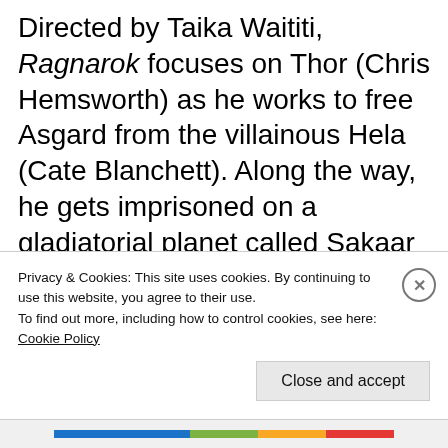Directed by Taika Waititi, Ragnarok focuses on Thor (Chris Hemsworth) as he works to free Asgard from the villainous Hela (Cate Blanchett). Along the way, he gets imprisoned on a gladiatorial planet called Sakaar by the Grandmaster (Jeff Goldblum). On Sakaar, the reigning champion is none other than the Incredible Hulk (Mark Ruffalo). In addition to Hulk, Thor hopes to win over Valkyrie (Tessa Thompson) to help with his Hel...
Privacy & Cookies: This site uses cookies. By continuing to use this website, you agree to their use.
To find out more, including how to control cookies, see here: Cookie Policy
Close and accept